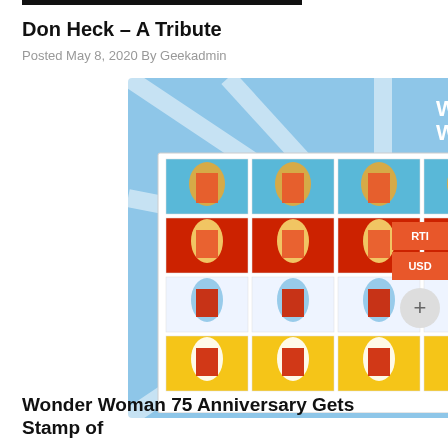Don Heck – A Tribute
Posted May 8, 2020 By Geekadmin
[Figure (photo): A sheet of Wonder Woman 75th Anniversary USPS postage stamps featuring comic book art of Wonder Woman in four different poses across four rows of five stamps each, on a blue background with 'WONDER WOMAN' logo text at top right.]
Wonder Woman 75 Anniversary Gets Stamp of